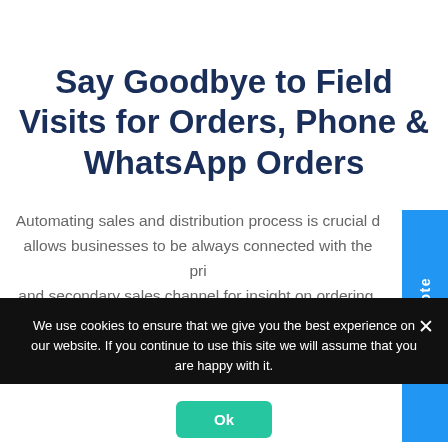Say Goodbye to Field Visits for Orders, Phone & WhatsApp Orders
Automating sales and distribution process is crucial d... allows businesses to be always connected with the pri... and secondary sales channel for insight on ordering... coverage, stock availability, servicing in the entire... chain. The channel becomes independent to do transactions on its... wi... b...
[Figure (other): Blue vertical sidebar button labeled 'Get A Quote']
[Figure (other): Chat popup with 'We're Online! How can we help you?' and a blue chat bubble button]
We use cookies to ensure that we give you the best experience on our website. If you continue to use this site we will assume that you are happy with it.
[Figure (other): Ok button on cookie banner]